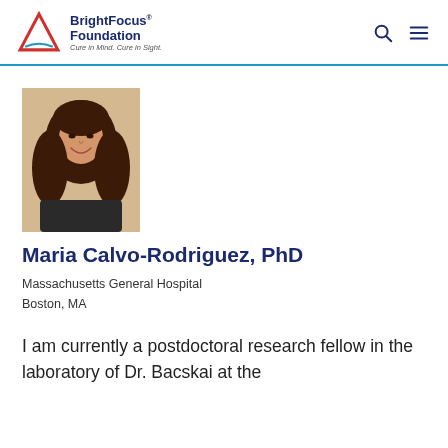BrightFocus Foundation — Cure in Mind. Cure in Sight.
[Figure (photo): Headshot photo of Maria Calvo-Rodriguez, a woman with long brown hair, smiling, in a laboratory setting.]
Maria Calvo-Rodriguez, PhD
Massachusetts General Hospital
Boston, MA
I am currently a postdoctoral research fellow in the laboratory of Dr. Bacskai at the